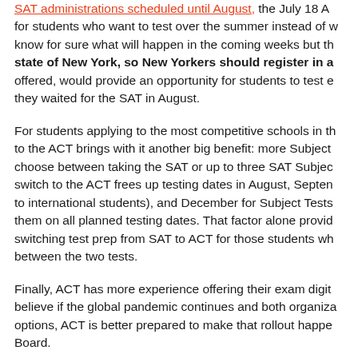SAT administrations scheduled until August, the July 18 A... for students who want to test over the summer instead of w... know for sure what will happen in the coming weeks but th... state of New York, so New Yorkers should register in a... offered, would provide an opportunity for students to test e... they waited for the SAT in August.
For students applying to the most competitive schools in th... to the ACT brings with it another big benefit: more Subject... choose between taking the SAT or up to three SAT Subjec... switch to the ACT frees up testing dates in August, Septen... to international students), and December for Subject Tests... them on all planned testing dates. That factor alone provid... switching test prep from SAT to ACT for those students wh... between the two tests.
Finally, ACT has more experience offering their exam digit... believe if the global pandemic continues and both organiza... options, ACT is better prepared to make that rollout happe... Board.
As always, we invite you to contact us if we can be of serv...